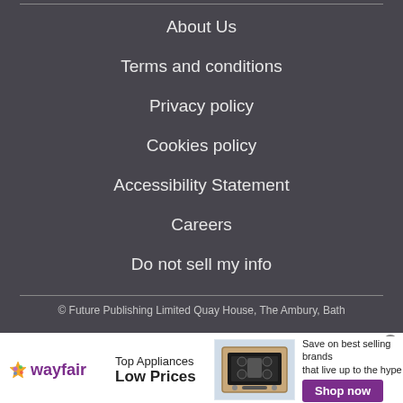About Us
Terms and conditions
Privacy policy
Cookies policy
Accessibility Statement
Careers
Do not sell my info
© Future Publishing Limited Quay House, The Ambury, Bath
[Figure (other): Wayfair advertisement banner: Top Appliances Low Prices, Save on best selling brands that live up to the hype, Shop now button]